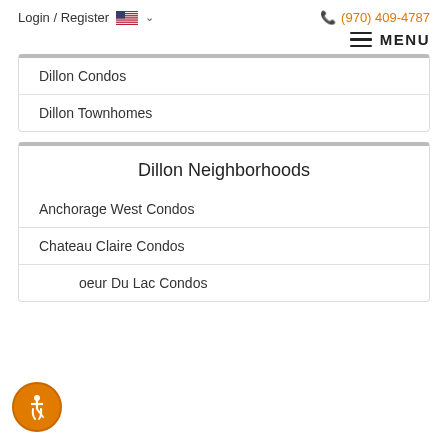Login / Register   🇺🇸 ˅   (970) 409-4787
MENU
Dillon Condos
Dillon Townhomes
Dillon Neighborhoods
Anchorage West Condos
Chateau Claire Condos
Coeur Du Lac Condos